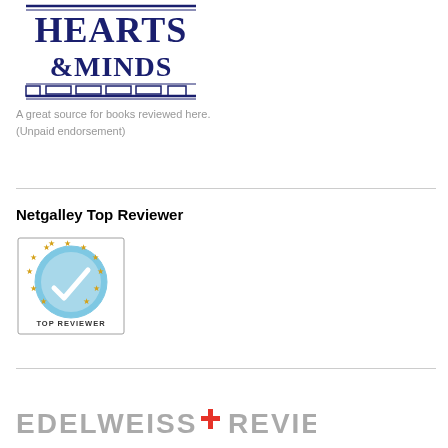[Figure (logo): Hearts & Minds bookstore logo with bold serif text and decorative border lines]
A great source for books reviewed here. (Unpaid endorsement)
Netgalley Top Reviewer
[Figure (logo): Netgalley Top Reviewer badge — blue circular badge with a checkmark/pen icon surrounded by gold stars and 'TOP REVIEWER' text in a rectangular border]
[Figure (logo): Edelweiss+ Reviewer logo text in grey with red plus sign]